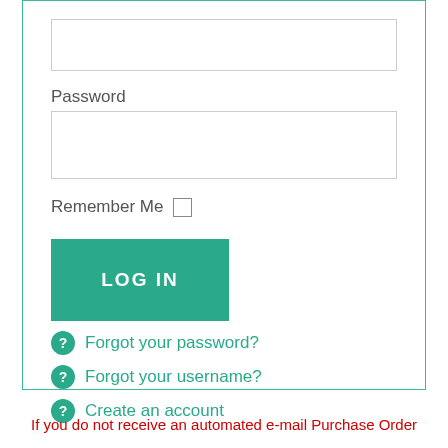[Figure (screenshot): A login form input field (text box, empty) at the top]
Password
[Figure (screenshot): A password input field (text box, empty)]
Remember Me
LOG IN
Forgot your password?
Forgot your username?
Create an account
If you do not receive an automated e-mail Purchase Order